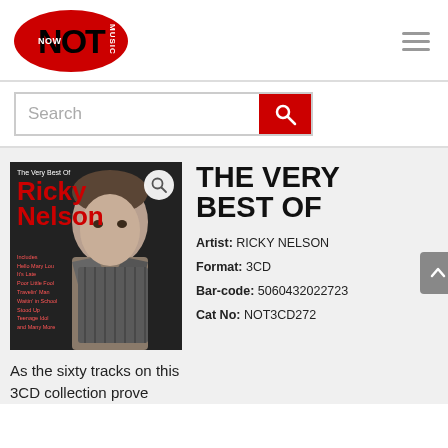[Figure (logo): NOT Now Music logo — red oval with NOT in black bold text, NOW in white small text, MUSIC in white vertical text on right side]
[Figure (other): Search bar with text input and red search button with magnifying glass icon]
[Figure (photo): Album cover for The Very Best Of Ricky Nelson — black and white photo of Ricky Nelson, red text Ricky Nelson, white text The Very Best Of, includes track listing text at bottom left]
THE VERY BEST OF
Artist: RICKY NELSON
Format: 3CD
Bar-code: 5060432022723
Cat No: NOT3CD272
As the sixty tracks on this 3CD collection prove